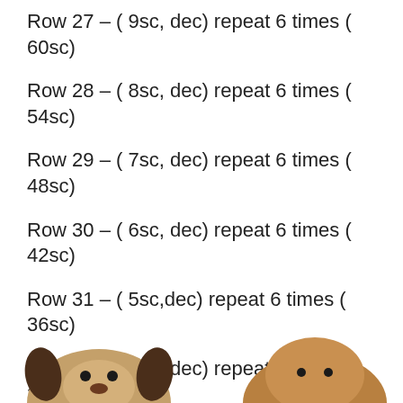Row 27 – ( 9sc, dec) repeat 6 times ( 60sc)
Row 28 – ( 8sc, dec) repeat 6 times ( 54sc)
Row 29 – ( 7sc, dec) repeat 6 times ( 48sc)
Row 30 – ( 6sc, dec) repeat 6 times ( 42sc)
Row 31 – ( 5sc,dec) repeat 6 times ( 36sc)
Row 32 – ( 4sc, dec) repeat 6 times ( 30sc)
Row 33 – ( 3sc, dec) repeat 6 times ( 24sc)
Stuffed with wool. Cut the thread leaving about 5 cm in length.
[Figure (photo): Two crocheted animal figures (sheep/dog) partially visible at the bottom of the page]